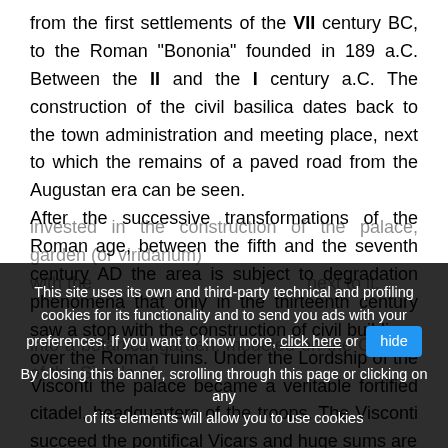from the first settlements of the VII century BC, to the Roman "Bononia" founded in 189 a.C. Between the II and the I century a.C. The construction of the civil basilica dates back to the town administration and meeting place, next to which the remains of a paved road from the Augustan era can be seen. After the successive transformations of the Roman age, between the fifth and the seventh century AD the area is subject to degradation phenomena that only in the thirteenth century saw a stop with the construction of civil buildings over the Roman ruins. Under the Lordship of the Visconti the palace became a veritable fortified citadel, headquarters of the troops. The Visconti succeed the pontifical Vicars and huge sums are
invested in the construction of the palace, garden (or viridarium) with the... next to it. In the... arium into a botanical garden, modeled on the Garden of the Simple of Padua, enriching it over the years with exotic species from Asia
This site uses its own and third-party technical and profiling cookies for its functionality and to send you ads with your preferences. If you want to know more, click here or hide. By closing this banner, scrolling through this page or clicking on any of its elements will allow you to use cookies